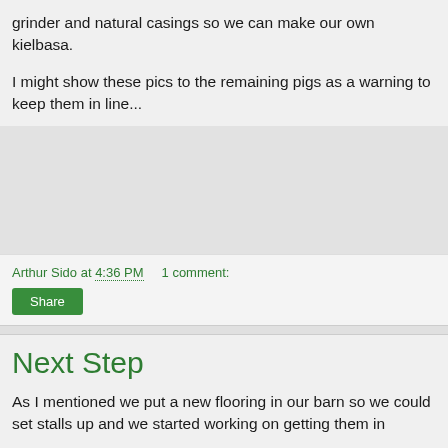grinder and natural casings so we can make our own kielbasa.
I might show these pics to the remaining pigs as a warning to keep them in line...
[Figure (other): Gray image placeholder area]
Arthur Sido at 4:36 PM    1 comment:
Share
Next Step
As I mentioned we put a new flooring in our barn so we could set stalls up and we started working on getting them in